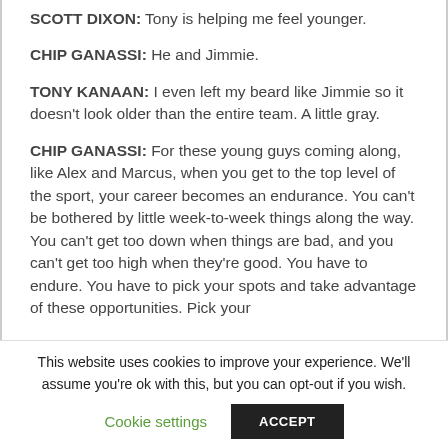SCOTT DIXON: Tony is helping me feel younger.
CHIP GANASSI: He and Jimmie.
TONY KANAAN: I even left my beard like Jimmie so it doesn't look older than the entire team. A little gray.
CHIP GANASSI: For these young guys coming along, like Alex and Marcus, when you get to the top level of the sport, your career becomes an endurance. You can't be bothered by little week-to-week things along the way. You can't get too down when things are bad, and you can't get too high when they're good. You have to endure. You have to pick your spots and take advantage of these opportunities. Pick your...
This website uses cookies to improve your experience. We'll assume you're ok with this, but you can opt-out if you wish.
Cookie settings
ACCEPT